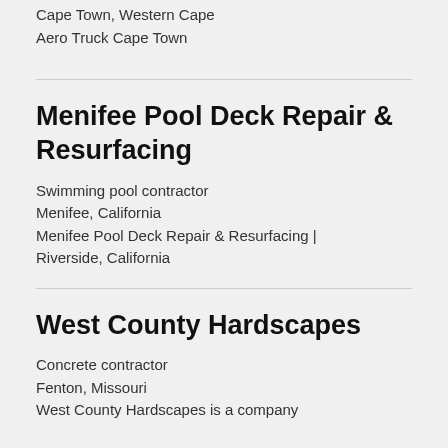Cape Town, Western Cape
Aero Truck Cape Town
Menifee Pool Deck Repair & Resurfacing
Swimming pool contractor
Menifee, California
Menifee Pool Deck Repair & Resurfacing | Riverside, California
West County Hardscapes
Concrete contractor
Fenton, Missouri
West County Hardscapes is a company